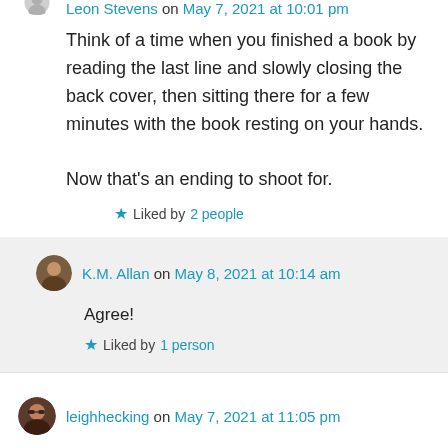Think of a time when you finished a book by reading the last line and slowly closing the back cover, then sitting there for a few minutes with the book resting on your hands.

Now that’s an ending to shoot for.
Liked by 2 people
K.M. Allan on May 8, 2021 at 10:14 am
Agree!
Liked by 1 person
leighhecking on May 7, 2021 at 11:05 pm